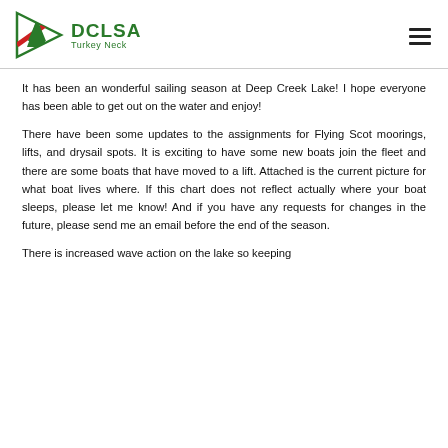DCLSA Turkey Neck
It has been an wonderful sailing season at Deep Creek Lake!  I hope everyone has been able to get out on the water and enjoy!
There have been some updates to the assignments for Flying Scot moorings, lifts, and drysail spots.  It is exciting to have some new boats join the fleet and there are some boats that have moved to a lift.  Attached is the current picture for what boat lives where.   If this chart does not reflect actually where your boat sleeps, please let me know!  And if you have any requests for changes in the future, please send me an email before the end of the season.
There is increased wave action on the lake so keeping